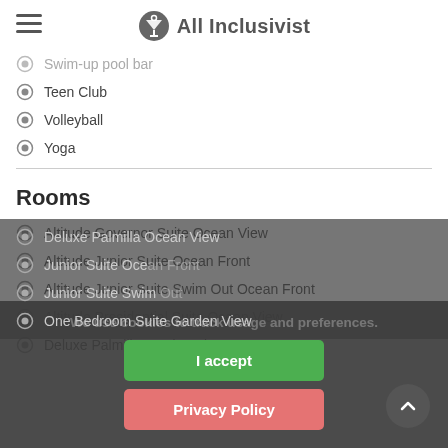All Inclusivist
Swim-up pool bar
Teen Club
Volleyball
Yoga
Rooms
Altitude Governor Suite Ocean View
Altitude Junior Suite Ocean Front
Altitude Junior Suite Swim Out Ocean Front
Altitude Presidential Suite Ocean View
Deluxe Palmilla Garden View
Deluxe [obscured]
Junior Suite Oce[obscured]
Junior Suite Swim[obscured]
One Bedroom Suite Garden View
We use cookies to track usage and preferences.
I accept
Privacy Policy